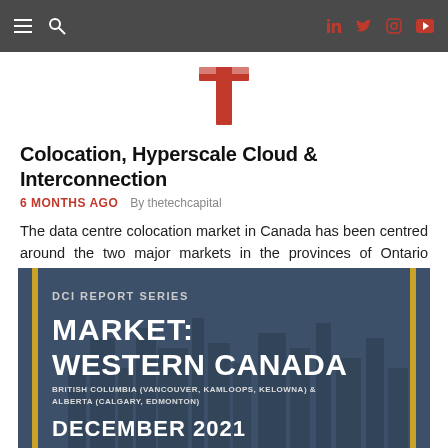Navigation bar with menu, search, and social icons (LinkedIn, Twitter, Instagram, YouTube)
[Figure (logo): Red letter T logo for The Tech Capital]
Colocation, Hyperscale Cloud & Interconnection
6 MONTHS AGO  By thetechcapital
The data centre colocation market in Canada has been centred around the two major markets in the provinces of Ontario (Toronto) and Québec (Mont...
[Figure (illustration): DCI Report Series banner image showing: DCI REPORT SERIES / MARKET: WESTERN CANADA / BRITISH COLUMBIA (VANCOUVER, KAMLOOPS, KELOWNA) & ALBERTA (CALGARY, EDMONTON) / DECEMBER 2021. Dark blue background with city skyline silhouette and gold vertical bars on left and right edges.]